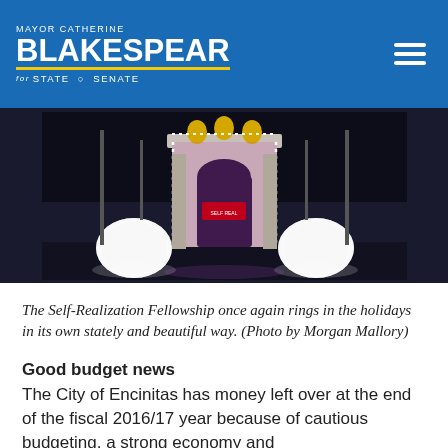Mayor Catherine Blakespear for State Senate
[Figure (photo): Nighttime photo of the Self-Realization Fellowship archway entrance, lit up with white lights and pink/purple illumination on the arch, with decorative illuminated round bushes on either side.]
The Self-Realization Fellowship once again rings in the holidays in its own stately and beautiful way. (Photo by Morgan Mallory)
Good budget news
The City of Encinitas has money left over at the end of the fiscal 2016/17 year because of cautious budgeting, a strong economy and